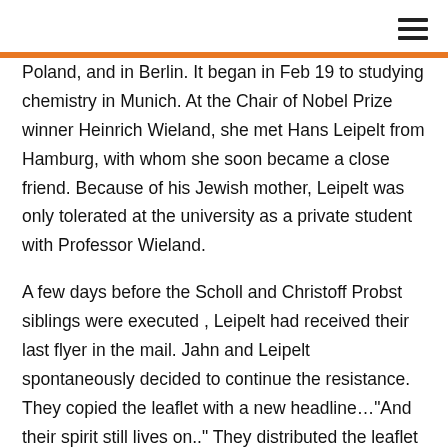≡
Poland, and in Berlin. It began in Feb 19 to studying chemistry in Munich. At the Chair of Nobel Prize winner Heinrich Wieland, she met Hans Leipelt from Hamburg, with whom she soon became a close friend. Because of his Jewish mother, Leipelt was only tolerated at the university as a private student with Professor Wieland.
A few days before the Scholl and Christoff Probst siblings were executed , Leipelt had received their last flyer in the mail. Jahn and Leipelt spontaneously decided to continue the resistance. They copied the leaflet with a new headline…"And their spirit still lives on.." They distributed the leaflet in Munich and took it to Hamburg to draw attention to the resistance. Together with their friends they thought about more actions. In Munich they learned of the plight of Professor Huber's family who had also been